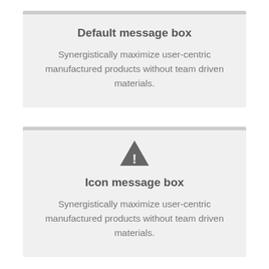Default message box
Synergistically maximize user-centric manufactured products without team driven materials.
[Figure (illustration): Warning triangle icon with exclamation mark]
Icon message box
Synergistically maximize user-centric manufactured products without team driven materials.